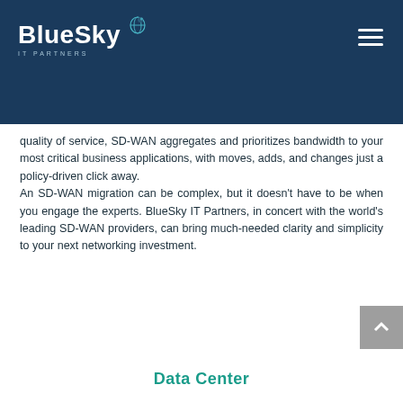BlueSky IT Partners
quality of service, SD-WAN aggregates and prioritizes bandwidth to your most critical business applications, with moves, adds, and changes just a policy-driven click away.
An SD-WAN migration can be complex, but it doesn't have to be when you engage the experts. BlueSky IT Partners, in concert with the world's leading SD-WAN providers, can bring much-needed clarity and simplicity to your next networking investment.
Data Center